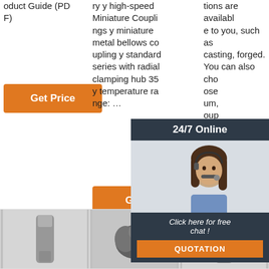oduct Guide (PDF)
[Figure (other): Orange 'Get Price' button on left column]
ry y high-speed Miniature Couplings y miniature metal bellows coupling y standard series with radial clamping hub 35 y temperature range: ...
[Figure (other): Orange 'Get Price' button on middle column]
tions are available to you, such as casting, forged. You can also choose um, oup as f l, ge plin
[Figure (other): Orange 'Get Price' button on right column]
[Figure (other): 24/7 Online chat overlay with customer service representative photo, 'Click here for free chat!' text, and QUOTATION button]
[Figure (other): TOP badge with orange dot triangle icon]
[Figure (photo): Three product thumbnail photos at bottom: metal tool part (left), dark metal couplings (center), metal tool part (right)]